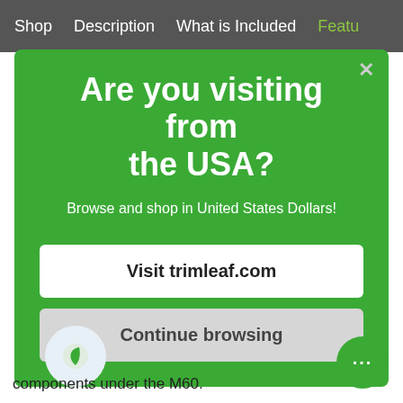Shop   Description   What is Included   Featu
Are you visiting from the USA?
Browse and shop in United States Dollars!
Visit trimleaf.com
Continue browsing
components under the M60.